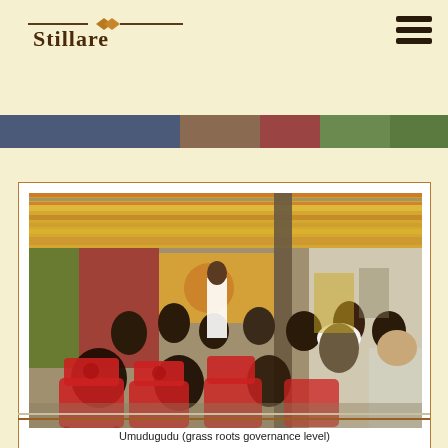Stillare
[Figure (photo): Community gathering under a covered outdoor area with people seated on red plastic chairs, viewed from behind. A person stands at the front addressing the group. Colorful fabric canopy overhead.]
Umudugudu (grass roots governance level)